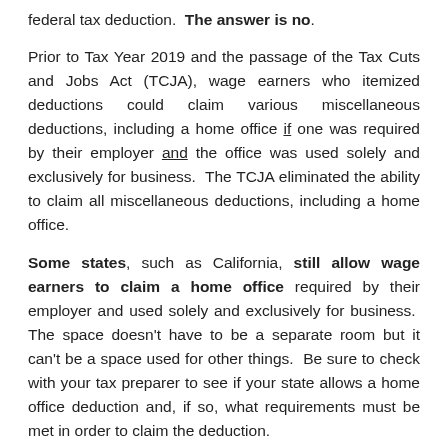federal tax deduction.  The answer is no.
Prior to Tax Year 2019 and the passage of the Tax Cuts and Jobs Act (TCJA), wage earners who itemized deductions could claim various miscellaneous deductions, including a home office if one was required by their employer and the office was used solely and exclusively for business.  The TCJA eliminated the ability to claim all miscellaneous deductions, including a home office.
Some states, such as California, still allow wage earners to claim a home office required by their employer and used solely and exclusively for business.  The space doesn't have to be a separate room but it can't be a space used for other things.  Be sure to check with your tax preparer to see if your state allows a home office deduction and, if so, what requirements must be met in order to claim the deduction.
[Figure (other): Social sharing buttons: Like 0 (Facebook) and Tweet (Twitter)]